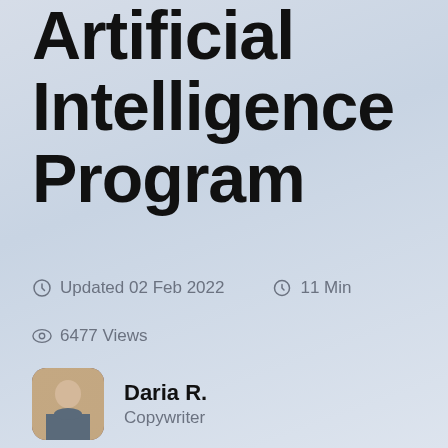Artificial Intelligence Program
Updated 02 Feb 2022   11 Min
6477 Views
Daria R.
Copywriter